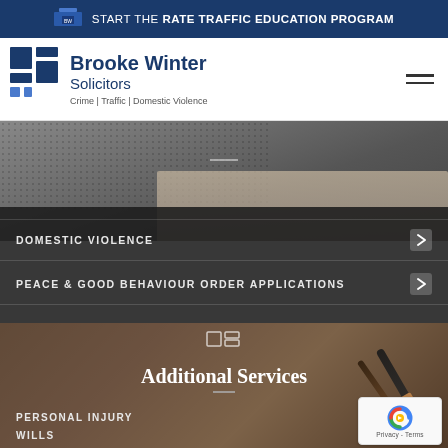START THE RATE TRAFFIC EDUCATION PROGRAM
[Figure (logo): Brooke Winter Solicitors logo with blue geometric squares and text: Brooke Winter Solicitors, Crime | Traffic | Domestic Violence]
[Figure (photo): Blurred photo of person writing on paper, overlaid with dark semi-transparent panel showing navigation links]
DOMESTIC VIOLENCE →
PEACE & GOOD BEHAVIOUR ORDER APPLICATIONS →
[Figure (photo): Blurred photo of fountain pens on paper with warm brown tones]
Additional Services
PERSONAL INJURY
WILLS